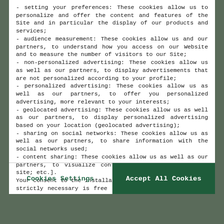- setting your preferences: These cookies allow us to personalize and offer the content and features of the Site and in particular the display of our products and services;
- audience measurement: These cookies allow us and our partners, to understand how you access on our Website and to measure the number of visitors to our Site;
- non-personalized advertising: These cookies allow us as well as our partners, to display advertisements that are not personalized according to your profile;
- personalized advertising: These cookies allow us as well as our partners, to offer you personalized advertising, more relevant to your interests;
- geolocated advertising: These cookies allow us as well as our partners, to display personalized advertising based on your location (geolocated advertising);
- sharing on social networks: These cookies allow us as well as our partners, to share information with the social networks used;
- content sharing: These cookies allow us as well as our partners, to visualize content hosted on an external site; etc.].
Your consent to the installation of cookies which is not strictly necessary is free and can be withdrawn at any time.
Cookie policy
Cookies Settings
Accept All Cookies